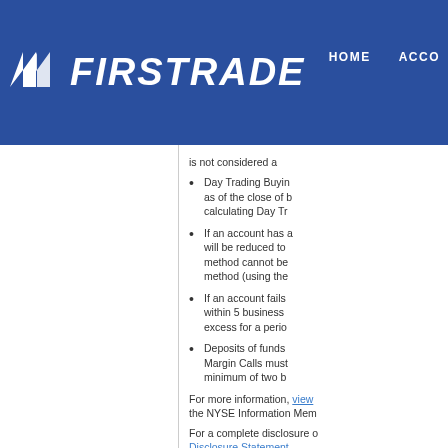FIRSTRADE | HOME | ACCO
is not considered a
Day Trading Buying as of the close of b calculating Day Tr
If an account has a will be reduced to method cannot be method (using the
If an account fails within 5 business excess for a perio
Deposits of funds Margin Calls must minimum of two b
For more information, view the NYSE Information Mem
For a complete disclosure c Disclosure Statement